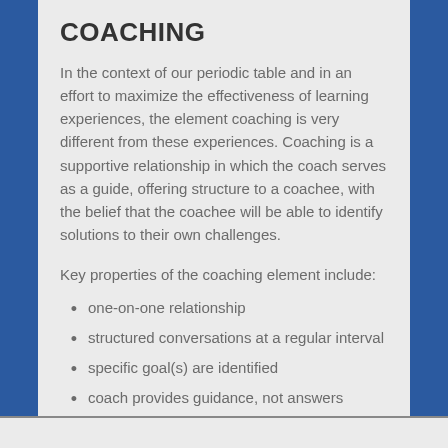COACHING
In the context of our periodic table and in an effort to maximize the effectiveness of learning experiences, the element coaching is very different from these experiences. Coaching is a supportive relationship in which the coach serves as a guide, offering structure to a coachee, with the belief that the coachee will be able to identify solutions to their own challenges.
Key properties of the coaching element include:
one-on-one relationship
structured conversations at a regular interval
specific goal(s) are identified
coach provides guidance, not answers